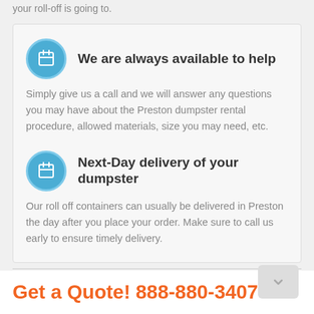your roll-off is going to.
We are always available to help
Simply give us a call and we will answer any questions you may have about the Preston dumpster rental procedure, allowed materials, size you may need, etc.
Next-Day delivery of your dumpster
Our roll off containers can usually be delivered in Preston the day after you place your order. Make sure to call us early to ensure timely delivery.
Get a Quote! 888-880-3407